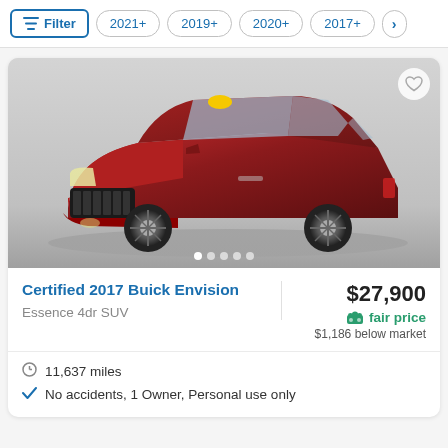Filter | 2021+ | 2019+ | 2020+ | 2017+ | >
[Figure (photo): Red 2017 Buick Envision SUV, 3/4 front view on white/grey background, with a yellow tag on the roof. Heart/favorite button in top right corner. Carousel dots at bottom.]
Certified 2017 Buick Envision
Essence 4dr SUV
$27,900
fair price
$1,186 below market
11,637 miles
No accidents, 1 Owner, Personal use only